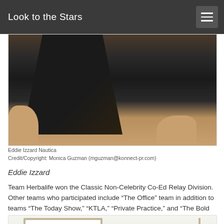Look to the Stars
[Figure (photo): Photo of Eddie Izzard in a black Nautica wetsuit standing on sandy beach, lower body visible from waist down]
Eddie Izzard Nautica
Credit/Copyright: Monica Guzman (mguzman@konnect-pr.com)
Eddie Izzard
Team Herbalife won the Classic Non-Celebrity Co-Ed Relay Division. Other teams who participated include “The Office” team in addition to teams “The Today Show,” “KTLA,” “Private Practice,” and “The Bold and the Beautiful.”
[Figure (photo): Partial view of a trophy or award frame, silver/gold colored border, white background]